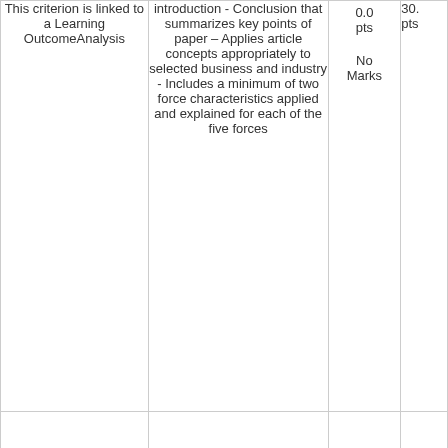| Criterion | Description | Score | Total |
| --- | --- | --- | --- |
| This criterion is linked to a Learning OutcomeAnalysis | introduction - Conclusion that summarizes key points of paper – Applies article concepts appropriately to selected business and industry - Includes a minimum of two force characteristics applied and explained for each of the five forces | 0.0 pts
No Marks | 30. pts |